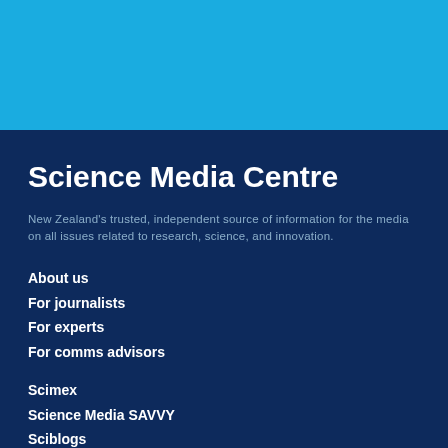Science Media Centre
New Zealand's trusted, independent source of information for the media on all issues related to research, science, and innovation.
About us
For journalists
For experts
For comms advisors
Scimex
Science Media SAVVY
Sciblogs